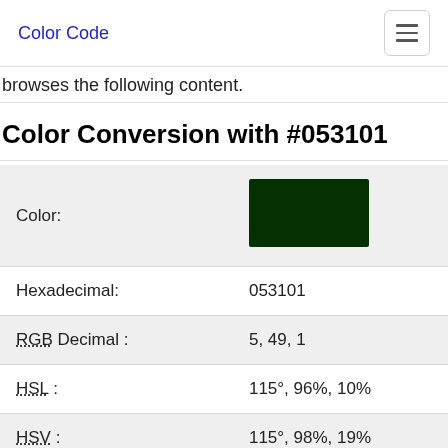Color Code
browses the following content.
Color Conversion with #053101
| Property | Value |
| --- | --- |
| Color: | [color swatch #053101] |
| Hexadecimal: | 053101 |
| RGB Decimal : | 5, 49, 1 |
| HSL : | 115°, 96%, 10% |
| HSV : | 115°, 98%, 19% |